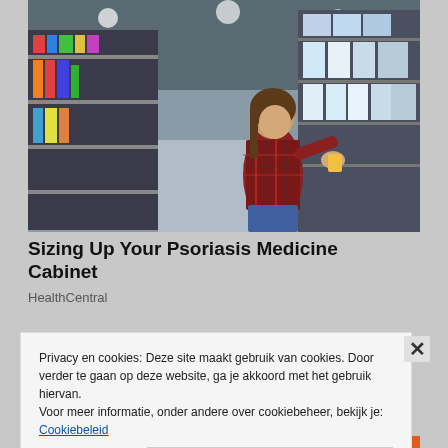[Figure (photo): Woman in a plaid shirt crouching in a pharmacy/drugstore aisle, reading the label on a product from a shelf stocked with health and beauty products.]
Sizing Up Your Psoriasis Medicine Cabinet
HealthCentral
Privacy en cookies: Deze site maakt gebruik van cookies. Door verder te gaan op deze website, ga je akkoord met het gebruik hiervan.
Voor meer informatie, onder andere over cookiebeheer, bekijk je: Cookiebeleid
Sluiten en bevestigen